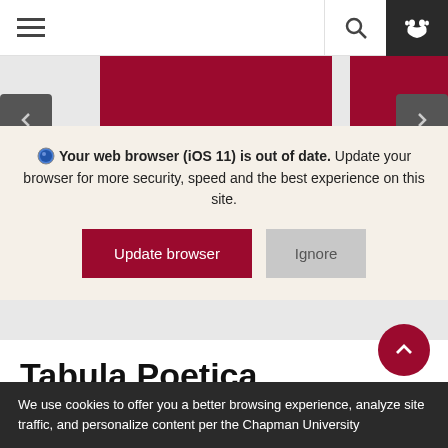Navigation bar with hamburger menu, search icon, and paw icon
[Figure (screenshot): Website carousel background with dark red/maroon rectangular banner sections and gray navigation arrow buttons]
🌐 Your web browser (iOS 11) is out of date. Update your browser for more security, speed and the best experience on this site.
Update browser   Ignore
on YouTube   Serie
Tabula Poetica
We use cookies to offer you a better browsing experience, analyze site traffic, and personalize content per the Chapman University